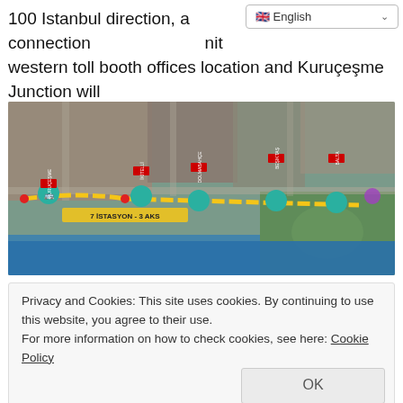100 Istanbul direction, a connection unit western toll booth offices location and Kuruçeşme Junction will be rearranged.
[Figure (map): Satellite map showing a route with yellow dashed road markings through Istanbul, with teal location pins marking metro/bus stations and red vertical banners labeling street names.]
Privacy and Cookies: This site uses cookies. By continuing to use this website, you agree to their use.
For more information on how to check cookies, see here: Cookie Policy
OK